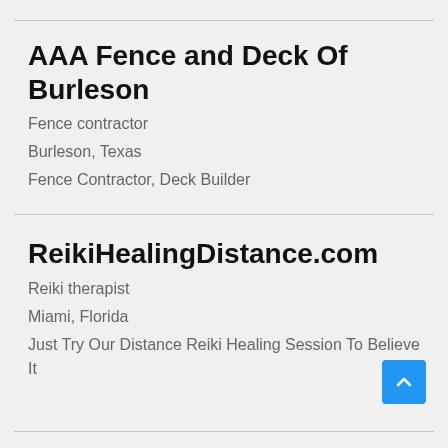AAA Fence and Deck Of Burleson
Fence contractor
Burleson, Texas
Fence Contractor, Deck Builder
ReikiHealingDistance.com
Reiki therapist
Miami, Florida
Just Try Our Distance Reiki Healing Session To Believe It